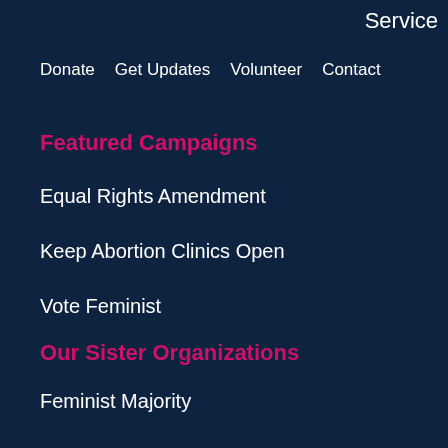Service
Donate
Get Updates
Volunteer
Contact
Featured Campaigns
Equal Rights Amendment
Keep Abortion Clinics Open
Vote Feminist
Our Sister Organizations
Feminist Majority
Ms. Magazine
Feminist Campus
Girls Learn International